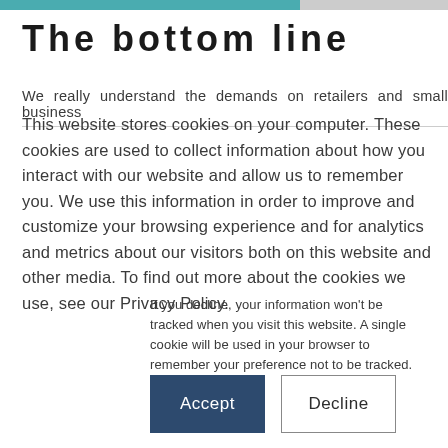The bottom line
We really understand the demands on retailers and small business
This website stores cookies on your computer. These cookies are used to collect information about how you interact with our website and allow us to remember you. We use this information in order to improve and customize your browsing experience and for analytics and metrics about our visitors both on this website and other media. To find out more about the cookies we use, see our Privacy Policy.
If you decline, your information won't be tracked when you visit this website. A single cookie will be used in your browser to remember your preference not to be tracked.
Accept   Decline